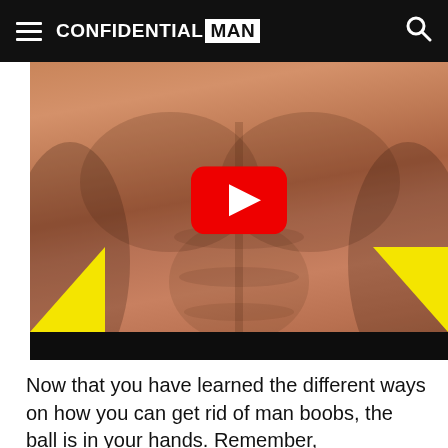CONFIDENTIAL MAN
[Figure (screenshot): Video thumbnail showing a muscular male torso with a YouTube play button overlay, yellow accent triangles in lower corners, and a black bar at the bottom.]
Now that you have learned the different ways on how you can get rid of man boobs, the ball is in your hands. Remember, commitment is the key! And once you've successfully achieved your goal,